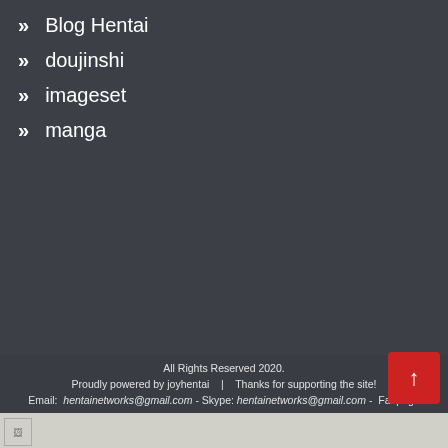» Blog Hentai
» doujinshi
» imageset
» manga
All Rights Reserved 2020.
Proudly powered by joyhentai   |   Thanks for supporting the site!
Email:  hentainetworks@gmail.com - Skype: hentainetworks@gmail.com -  Fanpage